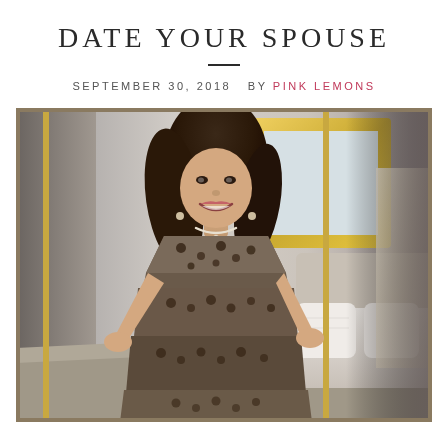DATE YOUR SPOUSE
SEPTEMBER 30, 2018   BY PINK LEMONS
[Figure (photo): A smiling woman with dark hair wearing a leopard print dress standing in a hotel room with a gold-framed mirror and a bed with white pillows visible in the background.]